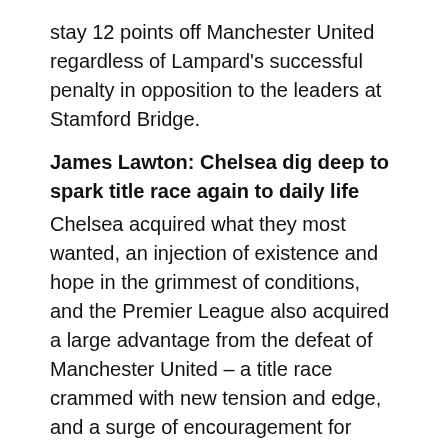stay 12 points off Manchester United regardless of Lampard's successful penalty in opposition to the leaders at Stamford Bridge.
James Lawton: Chelsea dig deep to spark title race again to daily life
Chelsea acquired what they most wanted, an injection of existence and hope in the grimmest of conditions, and the Premier League also acquired a large advantage from the defeat of Manchester United – a title race crammed with new tension and edge, and a surge of encouragement for Arsenal.
Villa will compete with Bolton for Chelsea striker Sturridge
Aston Villa Bolton Wanderers Carlo Ancelotti Chelsea Aston Villa boss Gerard Houllier is eager on Chelsea striker Danny Sturridge. The England U21 worldwide has